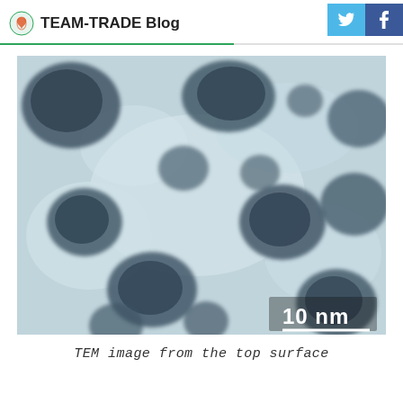TEAM-TRADE Blog
[Figure (photo): TEM (Transmission Electron Microscopy) image showing nanoparticles on a surface. Dark rounded clusters distributed across a lighter gray textured background. Scale bar in lower right reads '10 nm'.]
TEM image from the top surface